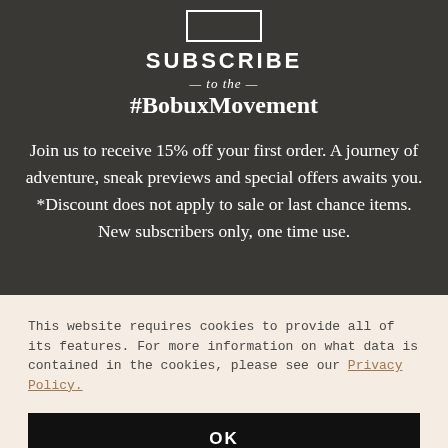SUBSCRIBE — to the — #BobuxMovement
Join us to receive 15% off your first order. A journey of adventure, sneak previews and special offers awaits you. *Discount does not apply to sale or last chance items. New subscribers only, one time use.
This website requires cookies to provide all of its features. For more information on what data is contained in the cookies, please see our Privacy Policy.
OK